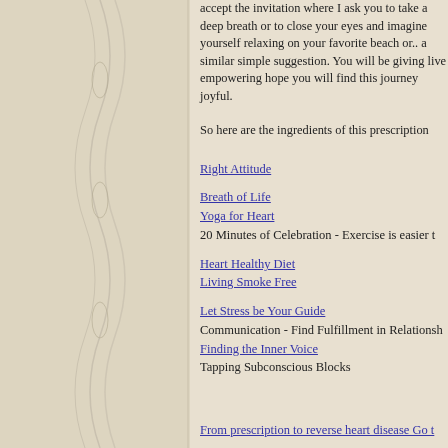accept the invitation where I ask you to take a deep breath or to close your eyes and imagine yourself relaxing on your favorite beach or.. a similar simple suggestion. You will be giving live empowering hope you will find this journey joyful.
So here are the ingredients of this prescription
Right Attitude
Breath of Life
Yoga for Heart
20 Minutes of Celebration - Exercise is easier t
Heart Healthy Diet
Living Smoke Free
Let Stress be Your Guide
Communication - Find Fulfillment in Relationships
Finding the Inner Voice
Tapping Subconscious Blocks
From prescription to reverse heart disease Go t